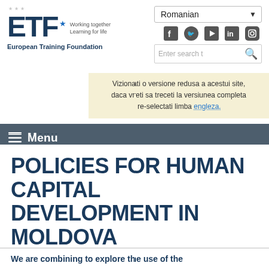[Figure (logo): ETF (European Training Foundation) logo with stars, tagline 'Working together Learning for life']
European Training Foundation
[Figure (screenshot): Language selector dropdown showing 'Romanian' with arrow, social media icons (Facebook, Twitter, YouTube, LinkedIn, Instagram), and search bar with 'Enter search t' placeholder]
Vizionati o versione redusa a acestui site, daca vreti sa treceti la versiunea completa re-selectati limba engleza.
Menu
POLICIES FOR HUMAN CAPITAL DEVELOPMENT IN MOLDOVA
We are combining to explore the use of the